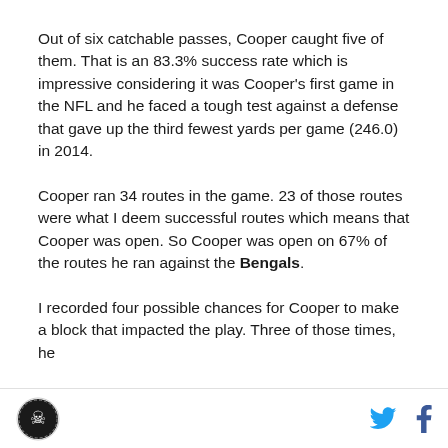Out of six catchable passes, Cooper caught five of them. That is an 83.3% success rate which is impressive considering it was Cooper's first game in the NFL and he faced a tough test against a defense that gave up the third fewest yards per game (246.0) in 2014.
Cooper ran 34 routes in the game. 23 of those routes were what I deem successful routes which means that Cooper was open. So Cooper was open on 67% of the routes he ran against the Bengals.
I recorded four possible chances for Cooper to make a block that impacted the play. Three of those times, he
[logo] [twitter] [facebook]